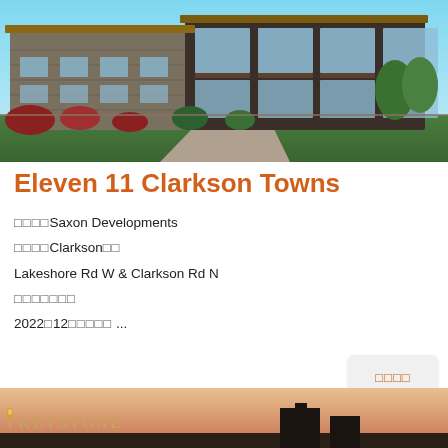[Figure (photo): Exterior rendering of Eleven 11 Clarkson Towns townhouse development showing modern multi-story building with stone and dark brown facade, balconies, large windows, and landscaping with trees and red flowers in the foreground]
Eleven 11 Clarkson Towns
開發商：Saxon Developments
城市：Clarkson社區
Lakeshore Rd W & Clarkson Rd N
樓盤類型：
2022年12月入住時間 ...
更多樓盤
[Figure (photo): Bottom banner showing KEYSTONE development logo and building silhouette against a sunset sky]